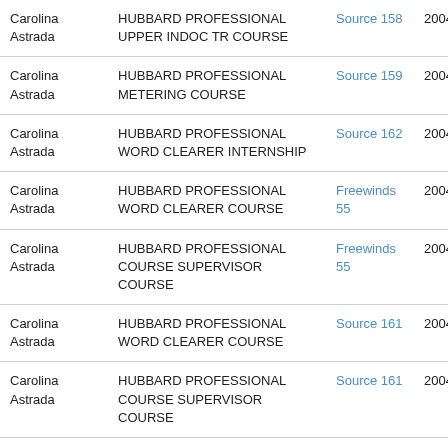| Carolina Astrada | HUBBARD PROFESSIONAL UPPER INDOC TR COURSE | Source 158 | 2004-08-01 |
| Carolina Astrada | HUBBARD PROFESSIONAL METERING COURSE | Source 159 | 2004-10-01 |
| Carolina Astrada | HUBBARD PROFESSIONAL WORD CLEARER INTERNSHIP | Source 162 | 2004-12-01 |
| Carolina Astrada | HUBBARD PROFESSIONAL WORD CLEARER COURSE | Freewinds 55 | 2004-12-01 |
| Carolina Astrada | HUBBARD PROFESSIONAL COURSE SUPERVISOR COURSE | Freewinds 55 | 2004-12-01 |
| Carolina Astrada | HUBBARD PROFESSIONAL WORD CLEARER COURSE | Source 161 | 2004-12-01 |
| Carolina Astrada | HUBBARD PROFESSIONAL COURSE SUPERVISOR COURSE | Source 161 | 2004-12-01 |